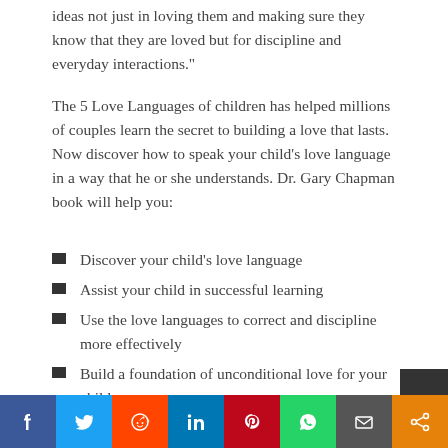ideas not just in loving them and making sure they know that they are loved but for discipline and everyday interactions."
The 5 Love Languages of children has helped millions of couples learn the secret to building a love that lasts. Now discover how to speak your child’s love language in a way that he or she understands. Dr. Gary Chapman book will help you:
Discover your child’s love language
Assist your child in successful learning
Use the love languages to correct and discipline more effectively
Build a foundation of unconditional love for your child